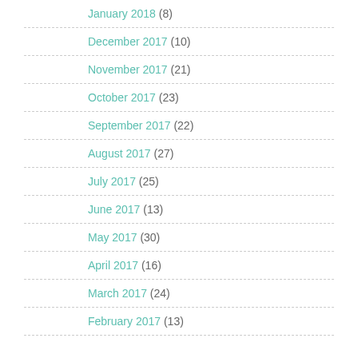January 2018 (8)
December 2017 (10)
November 2017 (21)
October 2017 (23)
September 2017 (22)
August 2017 (27)
July 2017 (25)
June 2017 (13)
May 2017 (30)
April 2017 (16)
March 2017 (24)
February 2017 (13)